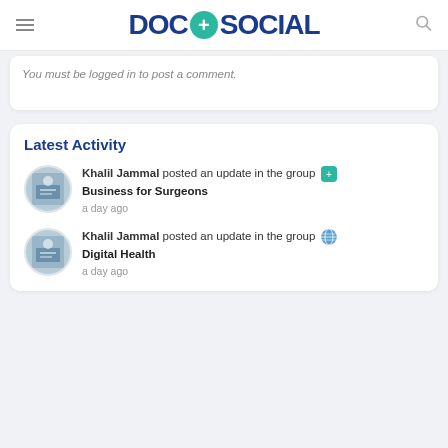DOC+SOCIAL
You must be logged in to post a comment.
Latest Activity
Khalil Jammal posted an update in the group Business for Surgeons
a day ago
Khalil Jammal posted an update in the group Digital Health
a day ago